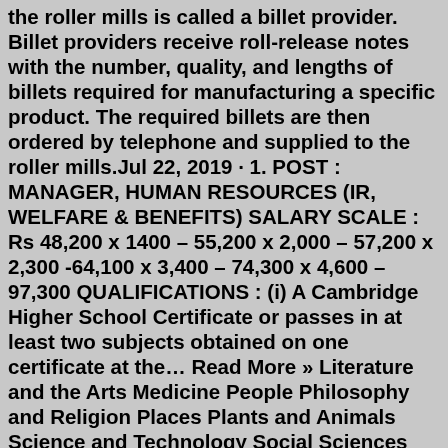the roller mills is called a billet provider. Billet providers receive roll-release notes with the number, quality, and lengths of billets required for manufacturing a specific product. The required billets are then ordered by telephone and supplied to the roller mills.Jul 22, 2019 · 1. POST : MANAGER, HUMAN RESOURCES (IR, WELFARE & BENEFITS) SALARY SCALE : Rs 48,200 x 1400 – 55,200 x 2,000 – 57,200 x 2,300 -64,100 x 3,400 – 74,300 x 4,600 – 97,300 QUALIFICATIONS : (i) A Cambridge Higher School Certificate or passes in at least two subjects obtained on one certificate at the… Read More » Literature and the Arts Medicine People Philosophy and Religion Places Plants and Animals Science and Technology Social Sciences and the Law Sports and Everyday Life Additional References Articles Daily Places Africa Mauritius and Runion Political Geography Mauritius Mauritius gale...The Mauritius Cane Industry Authority was established as a body corporate on 15 December 2011 with the enactment of the Mauritius Cane Industry Authority